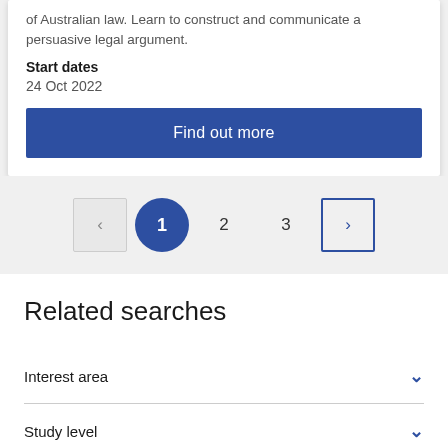of Australian law. Learn to construct and communicate a persuasive legal argument.
Start dates
24 Oct 2022
Find out more
[Figure (other): Pagination controls showing previous button, page 1 (active), page 2, page 3, and next button]
Related searches
Interest area
Study level